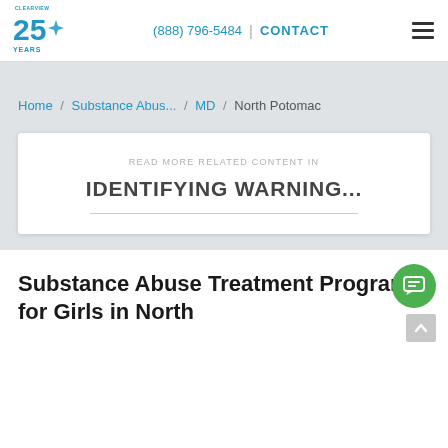Clearview 25 Years | (888) 796-5484 | CONTACT
Home / Substance Abus... / MD / North Potomac
READ MORE RELATED CONTENT IN
IDENTIFYING WARNING...
Substance Abuse Treatment Programs for Girls in North